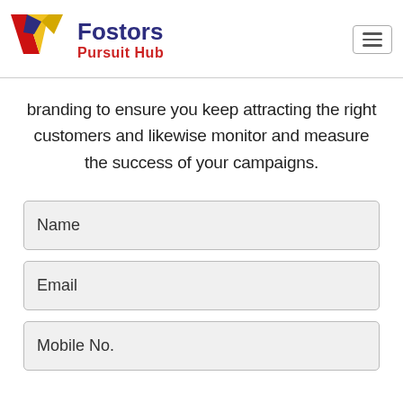[Figure (logo): Fostors Pursuit Hub logo with stylized W/V shape in red and yellow on the left, and text 'Fostors' in dark navy and 'Pursuit Hub' in red.]
branding to ensure you keep attracting the right customers and likewise monitor and measure the success of your campaigns.
Name
Email
Mobile No.